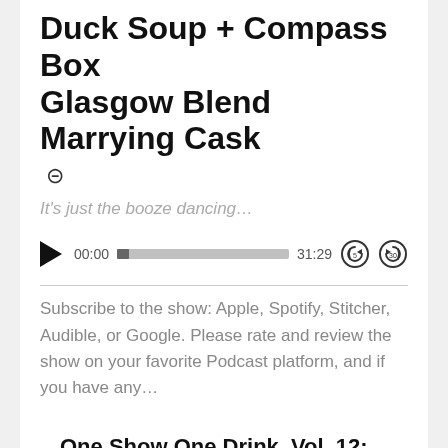Duck Soup + Compass Box Glasgow Blend Marrying Cask
It’s just the booze dancing…
[Figure (other): Audio player bar with play button, time 00:00, progress bar, duration 31:29, rewind 5s and forward 30s controls]
Subscribe to the show: Apple, Spotify, Stitcher, Audible, or Google. Please rate and review the show on your favorite Podcast platform, and if you have any…
One Show One Drink, Vol. 12: Duck Soup + Compass Box Glasgow Blend Marrying Cask